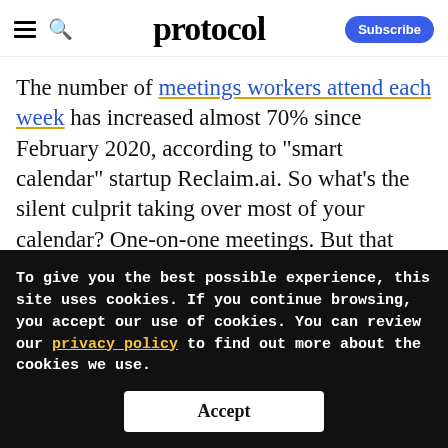protocol
The number of meetings workers attend each week has increased almost 70% since February 2020, according to "smart calendar" startup Reclaim.ai. So what's the silent culprit taking over most of your calendar? One-on-one meetings. But that change isn't all bad. Most of the increases in one-on-one
To give you the best possible experience, this site uses cookies. If you continue browsing, you accept our use of cookies. You can review our privacy policy to find out more about the cookies we use.
Accept